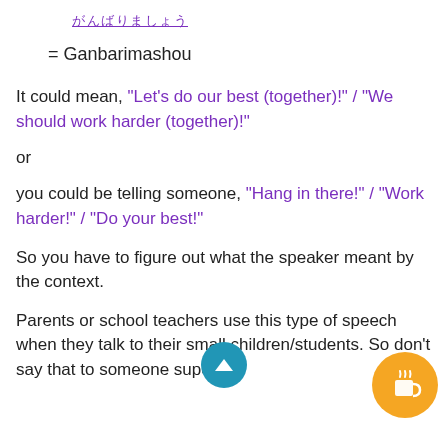がんばりましょう
= Ganbarimashou
It could mean, "Let's do our best (together)!" / "We should work harder (together)!"
or
you could be telling someone, "Hang in there!" / "Work harder!" / "Do your best!"
So you have to figure out what the speaker meant by the context.
Parents or school teachers use this type of speech when they talk to their small children/students. So don't say that to someone superior.